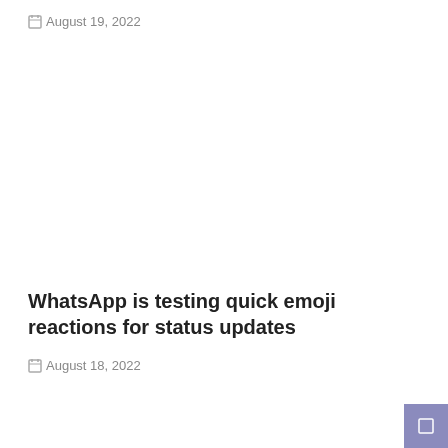August 19, 2022
WhatsApp is testing quick emoji reactions for status updates
August 18, 2022